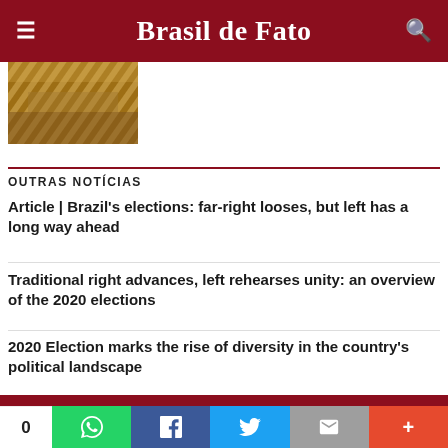Brasil de Fato
[Figure (photo): Thumbnail image showing aerial/ground view of terrain with brown and ochre earth tones]
OUTRAS NOTÍCIAS
Article | Brazil's elections: far-right looses, but left has a long way ahead
Traditional right advances, left rehearses unity: an overview of the 2020 elections
2020 Election marks the rise of diversity in the country's political landscape
Brasil de Fato